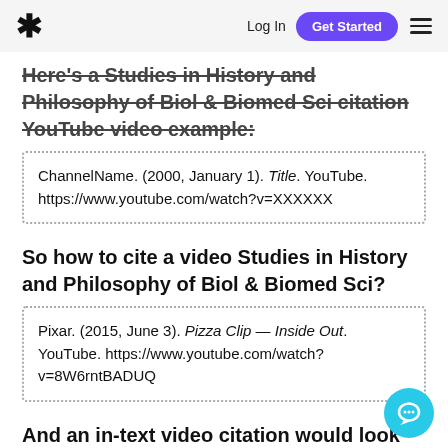* Log In  Get Started  ☰
Here's a Studies in History and Philosophy of Biol & Biomed Sci citation YouTube video example:
ChannelName. (2000, January 1). Title. YouTube. https://www.youtube.com/watch?v=XXXXXX
So how to cite a video Studies in History and Philosophy of Biol & Biomed Sci?
Pixar. (2015, June 3). Pizza Clip — Inside Out. YouTube. https://www.youtube.com/watch?v=8W6rntBADUQ
And an in-text video citation would look like this: (Pixar, 2015)